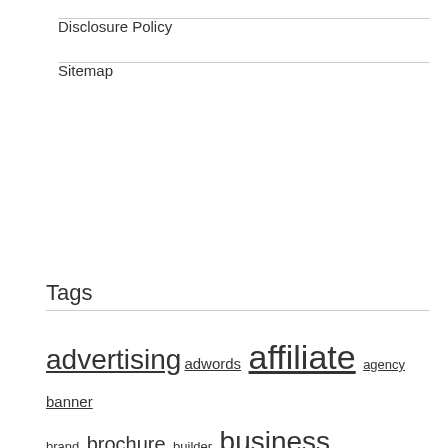Disclosure Policy
Sitemap
Tags
advertising adwords affiliate agency banner brand brochure builder business companies company content create design designer